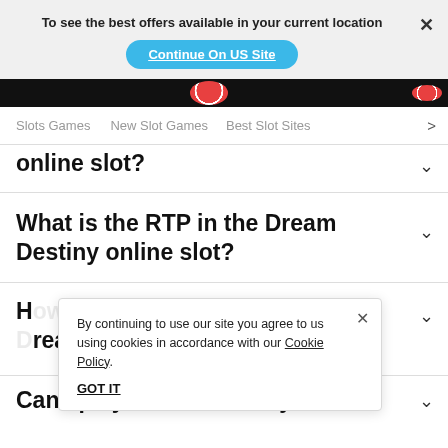To see the best offers available in your current location
Continue On US Site
Slots Games   New Slot Games   Best Slot Sites  >
...online slot?
What is the RTP in the Dream Destiny online slot?
H... ream D...
By continuing to use our site you agree to us using cookies in accordance with our Cookie Policy.
GOT IT
Can I play Dream Destiny slot on